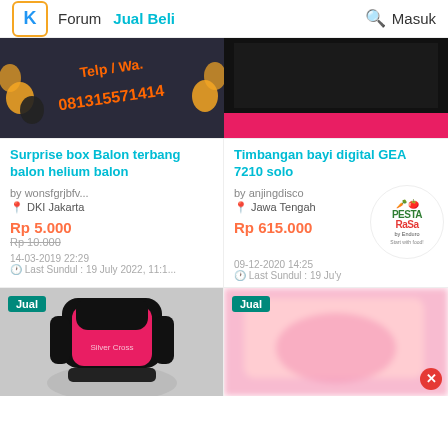K  Forum  Jual Beli  🔍 Masuk
[Figure (photo): Balloon decoration with phone number 081315571414 and text Telp/Wa]
[Figure (photo): Treadmill with pink/red frame and black running surface]
Surprise box Balon terbang balon helium balon
Timbangan bayi digital GEA 7210 solo
by wonsfgrjbfv...
📍 DKI Jakarta
Rp 5.000
Rp 10.000
14-03-2019 22:29
🕐 Last Sundul : 19 July 2022, 11:1...
by anjingdisco
📍 Jawa Tengah
Rp 615.000
09-12-2020 14:25
🕐 Last Sundul : 19 Ju'y
[Figure (photo): Pink and black baby car seat (Silver Cross brand) with Jual badge]
[Figure (photo): Blurred pink item with Jual badge and close button, Pesta Rasa Enduro logo overlay]